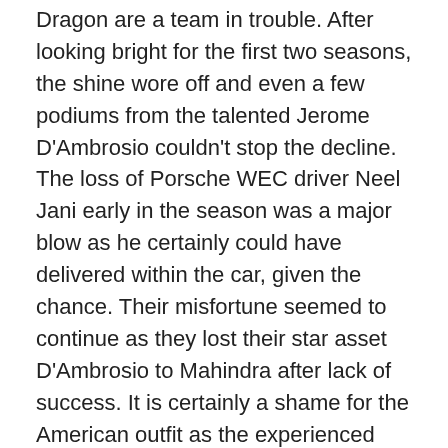Dragon are a team in trouble. After looking bright for the first two seasons, the shine wore off and even a few podiums from the talented Jerome D'Ambrosio couldn't stop the decline. The loss of Porsche WEC driver Neel Jani early in the season was a major blow as he certainly could have delivered within the car, given the chance. Their misfortune seemed to continue as they lost their star asset D'Ambrosio to Mahindra after lack of success. It is certainly a shame for the American outfit as the experienced Belgian driver was always able to extract more out of the machinery than most could, but on the other hand, it would be excellent to see D'Ambrosio in a competitive car once more.
Longo on the other hand, is to be retained